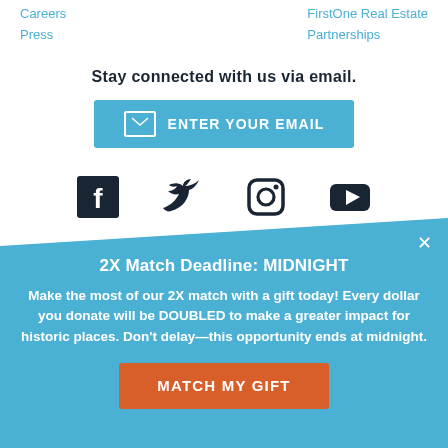Careers
Press
FirstOne Real Estate Partnerships
Stay connected with us via email.
[Figure (other): Blue email signup button with envelope icon and text ENTER YOUR EMAIL]
[Figure (other): Social media icons: Facebook, Twitter, Instagram, YouTube]
2X Match Deadline: MIDNIGHT
Make the most of our 2X match with a gift today! Every dollar you donate will be DOUBLED to make a greater impact for historic places. Don't delay—this opportunity ends at midnight.
[Figure (other): Orange button with text MATCH MY GIFT]